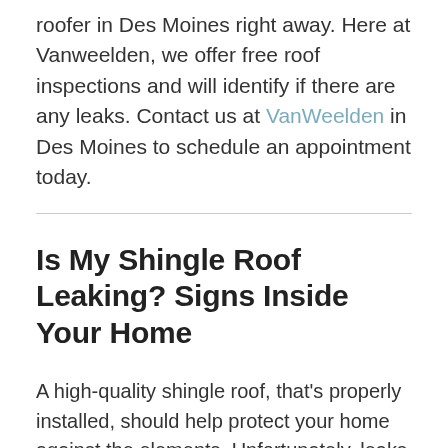roofer in Des Moines right away. Here at Vanweelden, we offer free roof inspections and will identify if there are any leaks. Contact us at VanWeelden in Des Moines to schedule an appointment today.
Is My Shingle Roof Leaking? Signs Inside Your Home
A high-quality shingle roof, that's properly installed, should help protect your home against the elements. Unfortunately, leaks can still develop on occasion. If you notice any signs of roof leaks, you should have them addressed